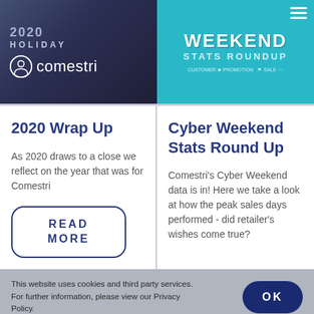[Figure (illustration): Left banner: dark navy/purple background with '2020', 'HOLIDAY' text above Comestri logo (white circle icon with person silhouette and white wordmark 'comestri')]
[Figure (illustration): Right banner: teal/cyan background with 'WEEKEND STATS ROUNDUP' in large white bold lettering, with smaller tags including CUSTOMER, PROMOTION, SALE, and a hamburger menu icon]
2020 Wrap Up
As 2020 draws to a close we reflect on the year that was for Comestri
READ MORE
Cyber Weekend Stats Round Up
Comestri's Cyber Weekend data is in! Here we take a look at how the peak sales days performed - did retailer's wishes come true?
This website uses cookies and third party services. For further information, please view our Privacy Policy.